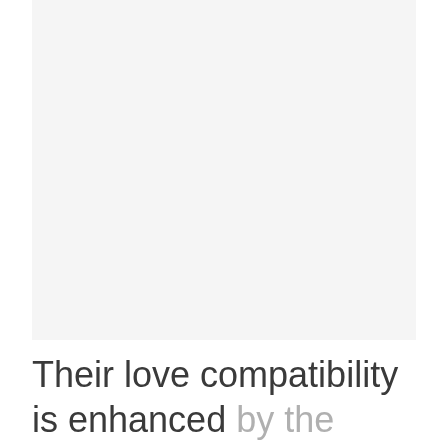[Figure (other): Large light gray blank/placeholder image area occupying the upper portion of the page]
Their love compatibility is enhanced by the deep conversations that they share. Also, they need to spend more